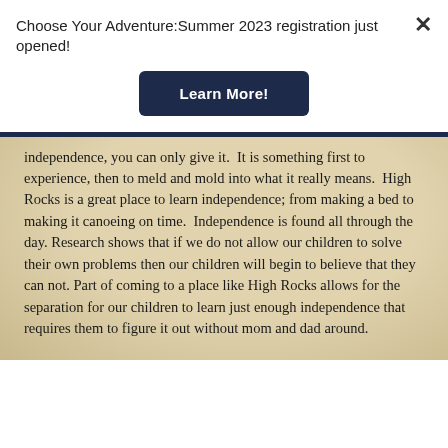Choose Your Adventure:Summer 2023 registration just opened!
[Figure (other): Dark navy blue 'Learn More!' button]
independence, you can only give it.  It is something first to experience, then to meld and mold into what it really means.  High Rocks is a great place to learn independence; from making a bed to making it canoeing on time.  Independence is found all through the day. Research shows that if we do not allow our children to solve their own problems then our children will begin to believe that they can not. Part of coming to a place like High Rocks allows for the separation for our children to learn just enough independence that requires them to figure it out without mom and dad around.